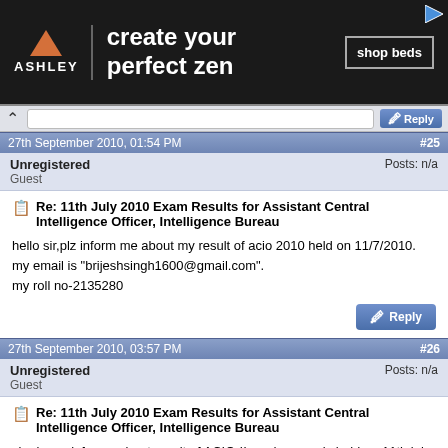[Figure (other): Ashley Furniture advertisement banner: black background with orange triangle logo, 'ASHLEY' text, 'create your perfect zen' tagline, and 'shop beds' button]
27th September 2010, 01:54 PM | #25
Unregistered
Guest
Posts: n/a
Re: 11th July 2010 Exam Results for Assistant Central Intelligence Officer, Intelligence Bureau
hello sir,plz inform me about my result of acio 2010 held on 11/7/2010.
my email is "brijeshsingh1600@gmail.com".
my roll no-2135280
27th September 2010, 03:57 PM | #26
Unregistered
Guest
Posts: n/a
Re: 11th July 2010 Exam Results for Assistant Central Intelligence Officer, Intelligence Bureau
sir please informe about result of ACIO-II grade exam is held on 11th july 2010,
i hope and believe you informe me about this as soon as possible.